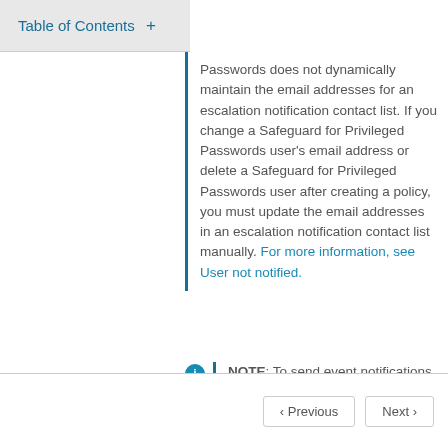Table of Contents +
Passwords does not dynamically maintain the email addresses for an escalation notification contact list. If you change a Safeguard for Privileged Passwords user's email address or delete a Safeguard for Privileged Passwords user after creating a policy, you must update the email addresses in an escalation notification contact list manually. For more information, see User not notified.
NOTE: To send event notifications to a user, you must configure Safeguard for Privileged Passwords to send alerts. For more information, see Configuring alerts.
Previous  Next